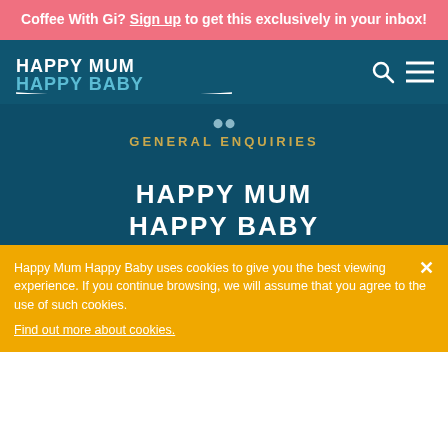Coffee With Gi? Sign up to get this exclusively in your inbox!
[Figure (logo): Happy Mum Happy Baby logo in white/teal text on dark blue navbar with search and menu icons]
GENERAL ENQUIRIES
[Figure (logo): Happy Mum Happy Baby large logo in white text on dark blue background]
Happy Mum Happy Baby uses cookies to give you the best viewing experience. If you continue browsing, we will assume that you agree to the use of such cookies. Find out more about cookies.